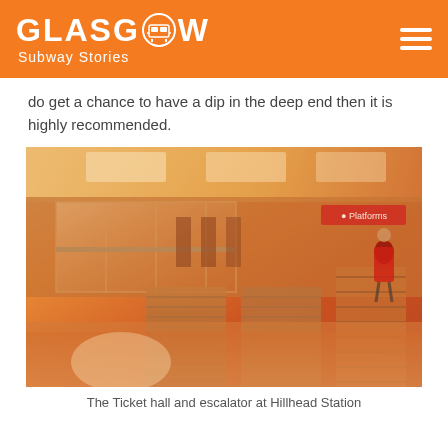GLASGOW Subway Stories
do get a chance to have a dip in the deep end then it is highly recommended.
[Figure (photo): Interior photo of the ticket hall and escalators at Hillhead Station, Glasgow Subway. The image has a warm orange/amber tint. Glass barriers and escalators are visible, with a person in a red coat on the right side. A sign reading 'Platforms' is visible in the upper right.]
The Ticket hall and escalator at Hillhead Station